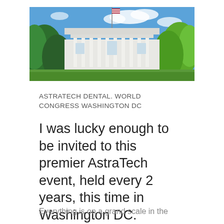[Figure (photo): Photograph of the White House with blue sky, green trees on either side, and an American flag on top.]
ASTRATECH DENTAL. WORLD CONGRESS WASHINGTON DC
I was lucky enough to be invited to this premier AstraTech event, held every 2 years, this time in Washington DC.
Everything is on a grand scale in the